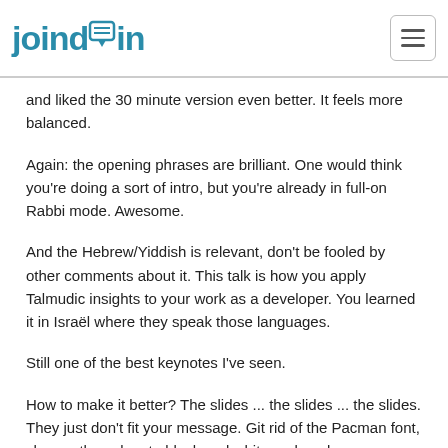joindin
and liked the 30 minute version even better. It feels more balanced.
Again: the opening phrases are brilliant. One would think you're doing a sort of intro, but you're already in full-on Rabbi mode. Awesome.
And the Hebrew/Yiddish is relevant, don't be fooled by other comments about it. This talk is how you apply Talmudic insights to your work as a developer. You learned it in Israël where they speak those languages.
Still one of the best keynotes I've seen.
How to make it better? The slides ... the slides ... the slides. They just don't fit your message. Git rid of the Pacman font, change the colors to black and white and apply your speaking style to the layout of your slides.